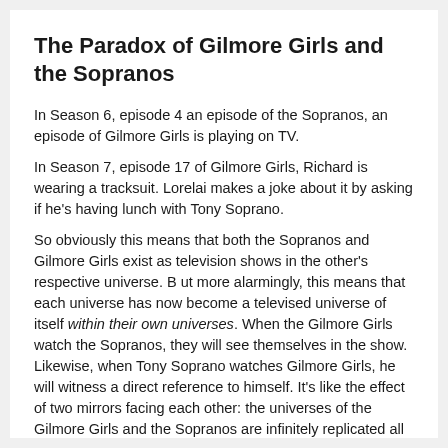The Paradox of Gilmore Girls and the Sopranos
In Season 6, episode 4 an episode of the Sopranos, an episode of Gilmore Girls is playing on TV.
In Season 7, episode 17 of Gilmore Girls, Richard is wearing a tracksuit. Lorelai makes a joke about it by asking if he's having lunch with Tony Soprano.
So obviously this means that both the Sopranos and Gilmore Girls exist as television shows in the other's respective universe. B ut more alarmingly, this means that each universe has now become a televised universe of itself within their own universes. When the Gilmore Girls watch the Sopranos, they will see themselves in the show. Likewise, when Tony Soprano watches Gilmore Girls, he will witness a direct reference to himself. It's like the effect of two mirrors facing each other: the universes of the Gilmore Girls and the Sopranos are infinitely replicated all the way down.